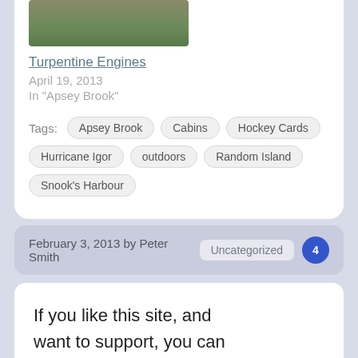[Figure (photo): Partial thumbnail photo of outdoor/nature scene]
Turpentine Engines
April 19, 2013
In "Apsey Brook"
Tags: Apsey Brook  Cabins  Hockey Cards  Hurricane Igor  outdoors  Random Island  Snook's Harbour
February 3, 2013 by Peter Smith  Uncategorized  4
If you like this site, and want to support, you can give a tiny donation here!